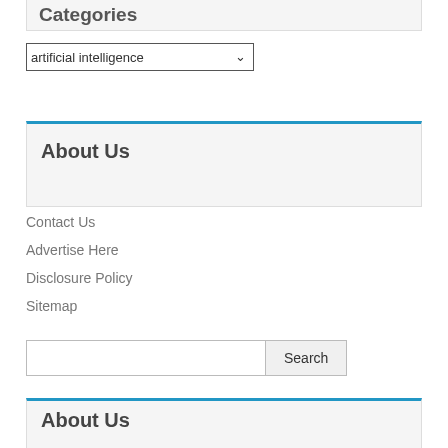Categories
artificial intelligence
About Us
Contact Us
Advertise Here
Disclosure Policy
Sitemap
Search
About Us